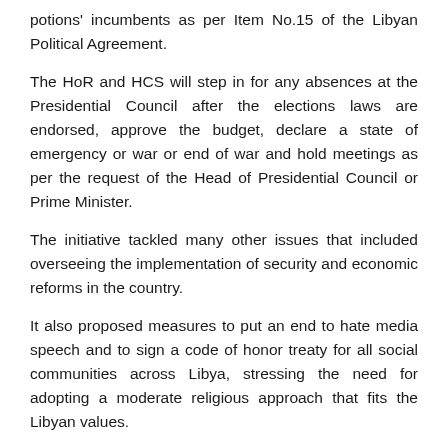potions' incumbents as per Item No.15 of the Libyan Political Agreement.
The HoR and HCS will step in for any absences at the Presidential Council after the elections laws are endorsed, approve the budget, declare a state of emergency or war or end of war and hold meetings as per the request of the Head of Presidential Council or Prime Minister.
The initiative tackled many other issues that included overseeing the implementation of security and economic reforms in the country.
It also proposed measures to put an end to hate media speech and to sign a code of honor treaty for all social communities across Libya, stressing the need for adopting a moderate religious approach that fits the Libyan values.
HCS's initiative called for forming an organization for national reconciliation with the needed committees from all across the country, in addition to adopting